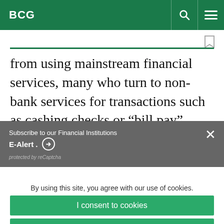BCG
from using mainstream financial services, many who turn to non-bank services for transactions such as cashing checks or “bill pay” services do so
Subscribe to our Financial Institutions E-Alert . ➡ protected by reCaptcha
By using this site, you agree with our use of cookies.
I consent to cookies
Want to know more?
Read our Cookie Policy